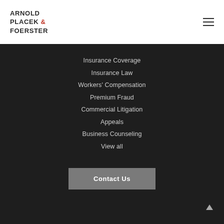[Figure (logo): Arnold Placek & Foerster law firm logo in dark text with red ampersand]
Insurance Coverage
Insurance Law
Workers' Compensation
Premium Fraud
Commercial Litigation
Appeals
Business Counseling
View all
Contact Us